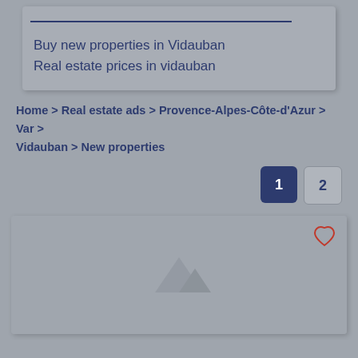Buy new properties in Vidauban
Real estate prices in vidauban
Home > Real estate ads > Provence-Alpes-Côte-d'Azur > Var > Vidauban > New properties
1  2
[Figure (photo): Listing card placeholder image with heart/favorite icon in top right corner]